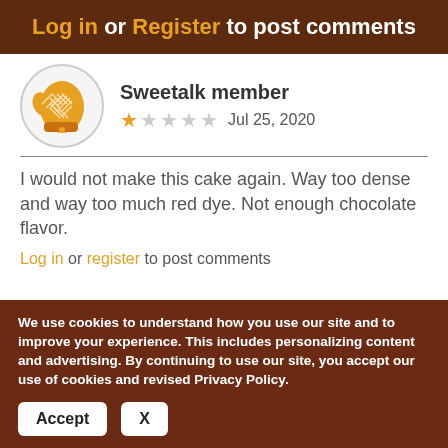Log in or Register to post comments
Sweetalk member
★☆☆☆☆  Jul 25, 2020
I would not make this cake again. Way too dense and way too much red dye. Not enough chocolate flavor.
Log in or register to post comments
We use cookies to understand how you use our site and to improve your experience. This includes personalizing content and advertising. By continuing to use our site, you accept our use of cookies and revised Privacy Policy.